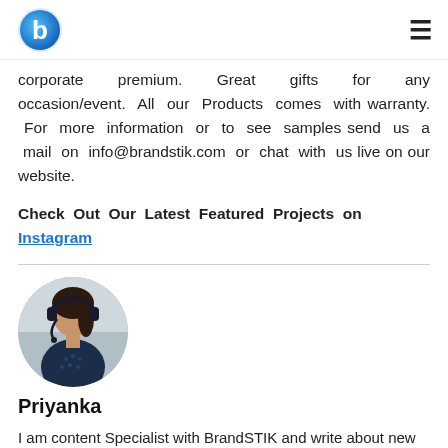BrandSTIK logo and navigation
corporate premium. Great gifts for any occasion/event. All our Products comes with warranty. For more information or to see samples send us a mail on info@brandstik.com or chat with us live on our website.
Check Out Our Latest Featured Projects on Instagram
[Figure (photo): Circular profile photo of a woman wearing headphones, sitting at a desk]
Priyanka
I am content Specialist with BrandSTIK and write about new product launches and generally